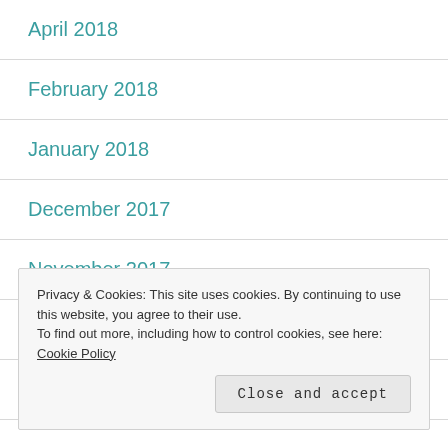April 2018
February 2018
January 2018
December 2017
November 2017
October 2017
September 2017
Privacy & Cookies: This site uses cookies. By continuing to use this website, you agree to their use.
To find out more, including how to control cookies, see here: Cookie Policy
Close and accept